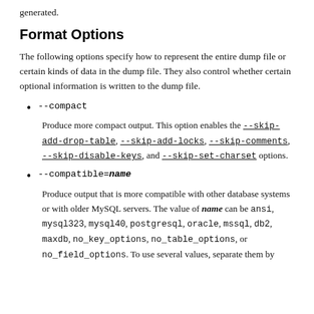generated.
Format Options
The following options specify how to represent the entire dump file or certain kinds of data in the dump file. They also control whether certain optional information is written to the dump file.
--compact
Produce more compact output. This option enables the --skip-add-drop-table, --skip-add-locks, --skip-comments, --skip-disable-keys, and --skip-set-charset options.
--compatible=name
Produce output that is more compatible with other database systems or with older MySQL servers. The value of name can be ansi, mysql323, mysql40, postgresql, oracle, mssql, db2, maxdb, no_key_options, no_table_options, or no_field_options. To use several values, separate them by